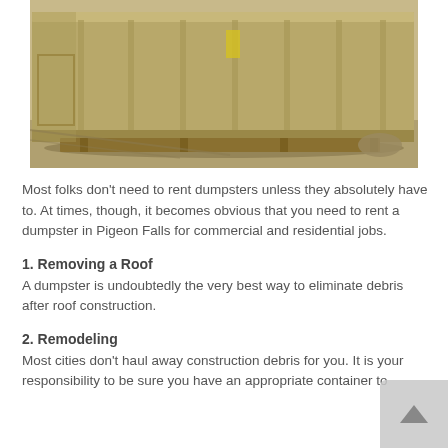[Figure (photo): A large tan/beige roll-off dumpster container sitting on a gravel or sandy surface outdoors, viewed from the side and slightly above.]
Most folks don't need to rent dumpsters unless they absolutely have to. At times, though, it becomes obvious that you need to rent a dumpster in Pigeon Falls for commercial and residential jobs.
1. Removing a Roof
A dumpster is undoubtedly the very best way to eliminate debris after roof construction.
2. Remodeling
Most cities don't haul away construction debris for you. It is your responsibility to be sure you have an appropriate container to